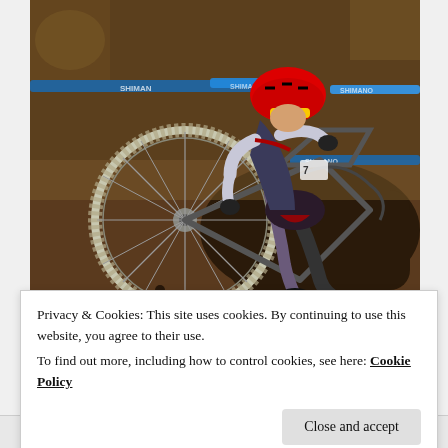[Figure (photo): A cyclocross racer carrying their bicycle over a muddy, rocky terrain with blue sponsor tape barriers in the background. The rider wears a cycling jersey and helmet.]
Privacy & Cookies: This site uses cookies. By continuing to use this website, you agree to their use.
To find out more, including how to control cookies, see here: Cookie Policy
Close and accept